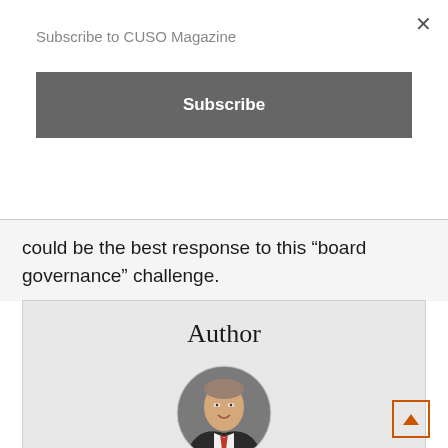Subscribe to CUSO Magazine
could be the best response to this “board governance” challenge.
Author
[Figure (photo): Circular headshot photo of Chip Filson, a man in a suit with a red tie, smiling]
Chip Filson
A nationally recognized leader in the credit union